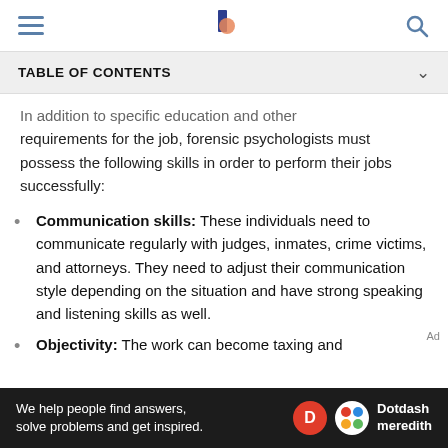TABLE OF CONTENTS
In addition to specific education and other requirements for the job, forensic psychologists must possess the following skills in order to perform their jobs successfully:
Communication skills: These individuals need to communicate regularly with judges, inmates, crime victims, and attorneys. They need to adjust their communication style depending on the situation and have strong speaking and listening skills as well.
Objectivity: The work can become taxing and
We help people find answers, solve problems and get inspired.